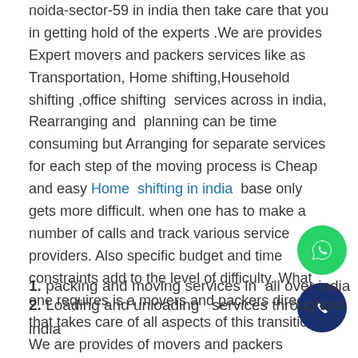noida-sector-59 in india then take care that you in getting hold of the experts .We are provides Expert movers and packers services like as Transportation, Home shifting,Household shifting ,office shifting  services across in india, Rearranging and  planning can be time consuming but Arranging for separate services for each step of the moving process is Cheap and easy Home  shifting in india  base only gets more difficult. when one has to make a number of calls and track various service providers. Also specific budget and time constraints add to the level of difficulty. What one requires is a movers and packers directory that takes care of all aspects of this transition We are provides of movers and packers services in all over india. It also includes a different type services
1. packing and moving services in  all over india
2. Loading and unloading   services throughout india